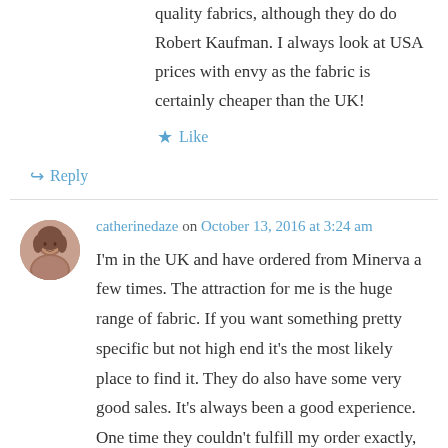quality fabrics, although they do do Robert Kaufman. I always look at USA prices with envy as the fabric is certainly cheaper than the UK!
★ Like
↪ Reply
catherinedaze on October 13, 2016 at 3:24 am
I'm in the UK and have ordered from Minerva a few times. The attraction for me is the huge range of fabric. If you want something pretty specific but not high end it's the most likely place to find it. They do also have some very good sales. It's always been a good experience. One time they couldn't fulfill my order exactly, and were very good about communicating and fixing